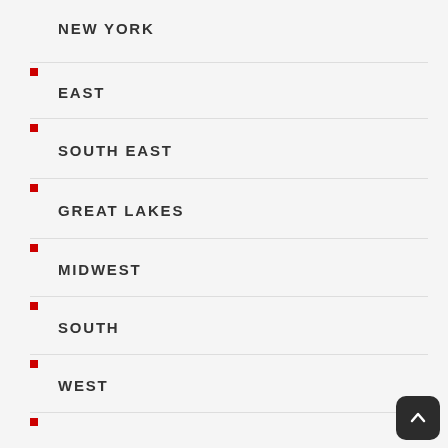NEW YORK
EAST
SOUTH EAST
GREAT LAKES
MIDWEST
SOUTH
WEST